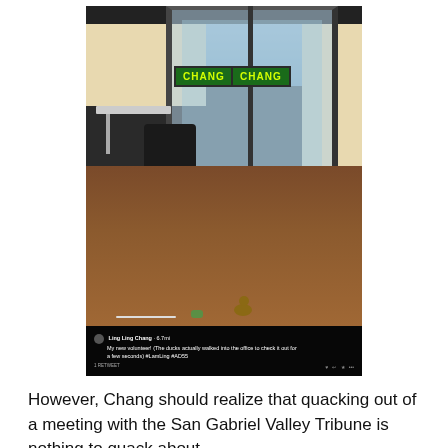[Figure (photo): A photo of a campaign office interior with two CHANG signs visible on a glass door, an office chair, wooden floor, and a parking lot visible outside. A social media post caption at the bottom reads: 'Ling Ling Chang: My new volunteer! (The ducks actually walked into the office to check it out for a few seconds) #LamLing #AD55']
However, Chang should realize that quacking out of a meeting with the San Gabriel Valley Tribune is nothing to quack about.
If the voters in the 55th Assembly District can't take Chang seriously as their next Assemblymember, then her